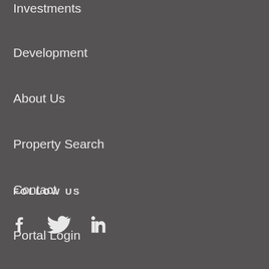Investments
Development
About Us
Property Search
Contact
Portal Login
FOLLOW US
[Figure (infographic): Social media icons: Facebook, Twitter, LinkedIn]